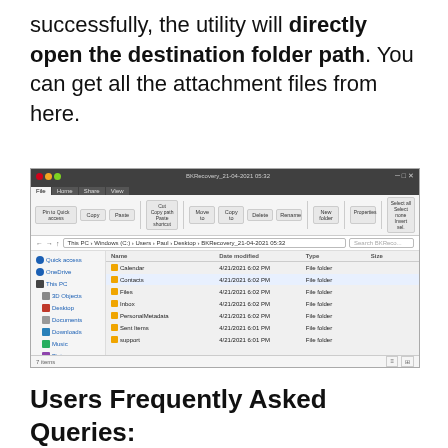successfully, the utility will directly open the destination folder path. You can get all the attachment files from here.
[Figure (screenshot): Windows File Explorer showing BKRecovery_21-04-2021 folder with subfolders: Calendar, Contacts, Files, Inbox, PersonalMetadata, Sent Items, support]
Users Frequently Asked Queries: